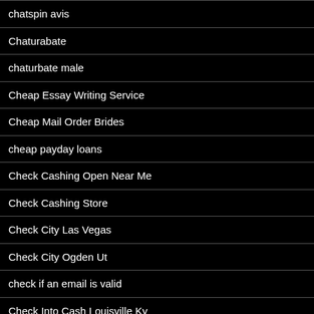chatspin avis
Chaturabate
chaturbate male
Cheap Essay Writing Service
Cheap Mail Order Brides
cheap payday loans
Check Cashing Open Near Me
Check Cashing Store
Check City Las Vegas
Check City Ogden Ut
check if an email is valid
Check Into Cash Louisville Ky
Check Into Cash Near Me